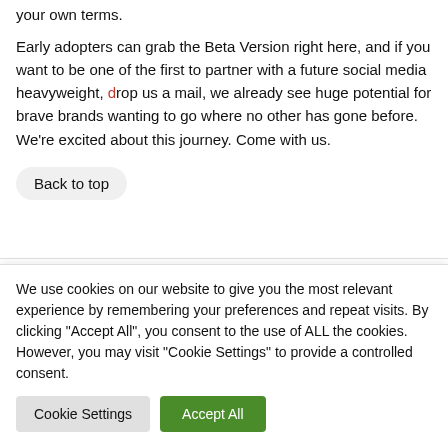your own terms.
Early adopters can grab the Beta Version right here, and if you want to be one of the first to partner with a future social media heavyweight, drop us a mail, we already see huge potential for brave brands wanting to go where no other has gone before. We're excited about this journey. Come with us.
Back to top
We use cookies on our website to give you the most relevant experience by remembering your preferences and repeat visits. By clicking "Accept All", you consent to the use of ALL the cookies. However, you may visit "Cookie Settings" to provide a controlled consent.
Cookie Settings
Accept All